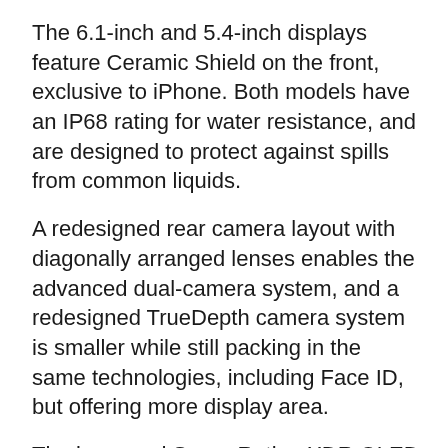The 6.1-inch and 5.4-inch displays feature Ceramic Shield on the front, exclusive to iPhone. Both models have an IP68 rating for water resistance, and are designed to protect against spills from common liquids.
A redesigned rear camera layout with diagonally arranged lenses enables the advanced dual-camera system, and a redesigned TrueDepth camera system is smaller while still packing in the same technologies, including Face ID, but offering more display area.
The improved Super Retina XDR OLED displays deliver an incredible contrast ratio for true blacks and a 28 per cent increase in max outdoor brightness at 800 nits, with higher peak brightness for HDR content like photos and videos at 1200 nits, all while being more power efficient.